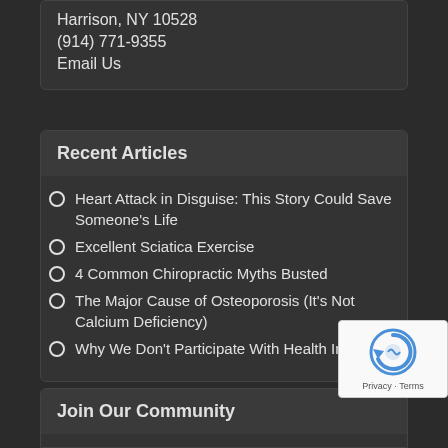Harrison, NY 10528
(914) 771-9355
Email Us
Recent Articles
Heart Attack in Disguise: This Story Could Save Someone's Life
Excellent Sciatica Exercise
4 Common Chiropractic Myths Busted
The Major Cause of Osteoporosis (It's Not Calcium Deficiency)
Why We Don't Participate With Health Insurance
Join Our Community